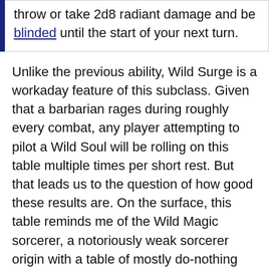| throw or take 2d8 radiant damage and be blinded until the start of your next turn. |
Unlike the previous ability, Wild Surge is a workaday feature of this subclass. Given that a barbarian rages during roughly every combat, any player attempting to pilot a Wild Soul will be rolling on this table multiple times per short rest. But that leads us to the question of how good these results are. On the surface, this table reminds me of the Wild Magic sorcerer, a notoriously weak sorcerer origin with a table of mostly do-nothing results.
Thankfully, this feature isn't that bad. For starters, the...